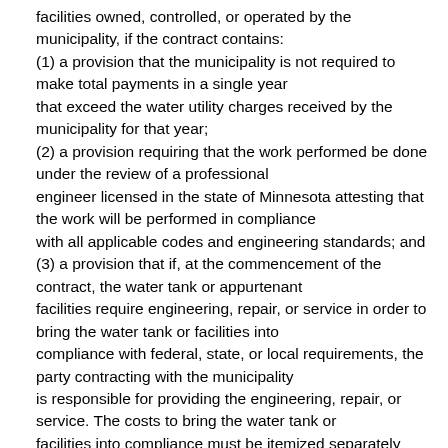facilities owned, controlled, or operated by the municipality, if the contract contains:
(1) a provision that the municipality is not required to make total payments in a single year
that exceed the water utility charges received by the municipality for that year;
(2) a provision requiring that the work performed be done under the review of a professional
engineer licensed in the state of Minnesota attesting that the work will be performed in compliance
with all applicable codes and engineering standards; and
(3) a provision that if, at the commencement of the contract, the water tank or appurtenant
facilities require engineering, repair, or service in order to bring the water tank or facilities into
compliance with federal, state, or local requirements, the party contracting with the municipality
is responsible for providing the engineering, repair, or service. The costs to bring the water tank or
facilities into compliance must be itemized separately and charged to the municipality in payments